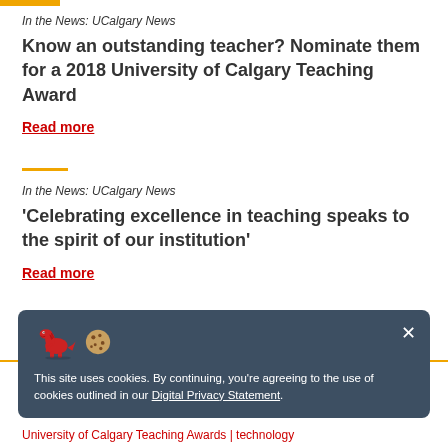In the News: UCalgary News
Know an outstanding teacher? Nominate them for a 2018 University of Calgary Teaching Award
Read more
In the News: UCalgary News
'Celebrating excellence in teaching speaks to the spirit of our institution'
Read more
This site uses cookies. By continuing, you're agreeing to the use of cookies outlined in our Digital Privacy Statement.
University of Calgary Teaching Awards | technology